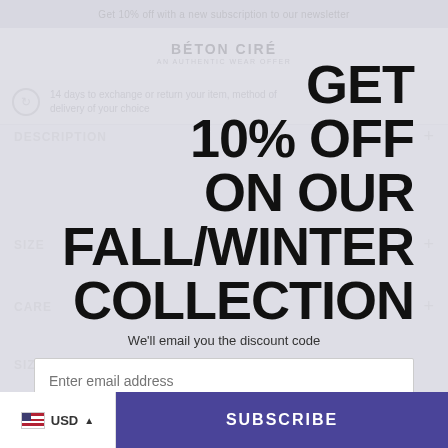Get 10% off with a new subscription to our newsletter
BÉTON CIRÉ
AN AUTHENTIC WEAR OFFER
14 days to exchange or return your item, method of delivery of your choice
DESCRIPTION
SIZE
CARE
SIZE:
GET 10% OFF ON OUR FALL/WINTER COLLECTION
We'll email you the discount code
Enter email address
USD
SUBSCRIBE